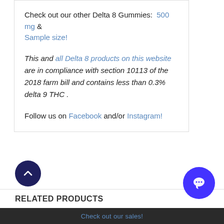Check out our other Delta 8 Gummies: 500 mg & Sample size!
This and all Delta 8 products on this website are in compliance with section 10113 of the 2018 farm bill and contains less than 0.3% delta 9 THC.
Follow us on Facebook and/or Instagram!
RELATED PRODUCTS
Check out our sales!